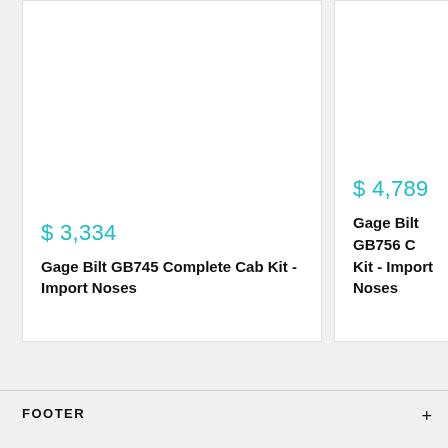$ 3,334
Gage Bilt GB745 Complete Cab Kit - Import Noses
$ 4,789
Gage Bilt GB756 C... Kit - Import Noses
FOOTER